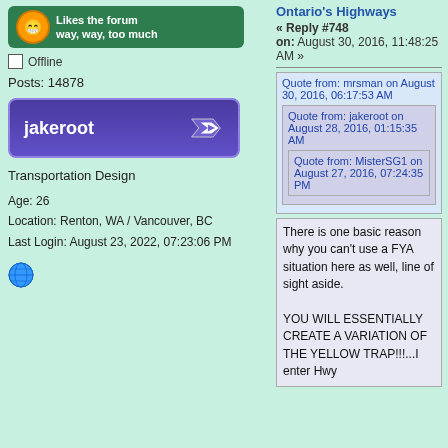[Figure (illustration): Green banner badge with smiley face icon and text 'Likes the forum way, way, too much']
Offline
Posts: 14878
[Figure (logo): Purple highway-sign style badge with text 'jakeroot' and arrow icon]
Transportation Design
Age: 26
Location: Renton, WA / Vancouver, BC
Last Login: August 23, 2022, 07:23:06 PM
[Figure (illustration): Globe/internet icon]
Ontario's Highways
« Reply #748 on: August 30, 2016, 11:48:25 AM »
Quote from: mrsman on August 30, 2016, 06:17:53 AM
Quote from: jakeroot on August 28, 2016, 01:15:35 AM
Quote from: MisterSG1 on August 27, 2016, 07:24:35 PM
There is one basic reason why you can't use a FYA situation here as well, line of sight aside.

YOU WILL ESSENTIALLY CREATE A VARIATION OF THE YELLOW TRAP!!!...I enter Hwy